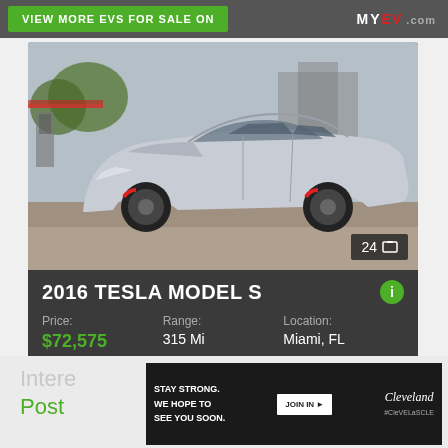[Figure (screenshot): Top banner with green button 'VIEW MORE EVs FOR SALE ON' and MyEV.com logo on dark background]
[Figure (photo): Silver 2016 Tesla Model S parked at a gas station, front three-quarter view, dark alloy wheels with red brake calipers. Photo counter shows 24 images.]
2016 TESLA MODEL S
Price: $72,575  Range: 315 Mi  Location: Miami, FL
[Figure (screenshot): Cleveland advertisement overlay on light gray background: 'STAY STRONG. WE HOPE TO SEE YOU SOON.' with JOIN IN button and Cleveland logo]
Intere